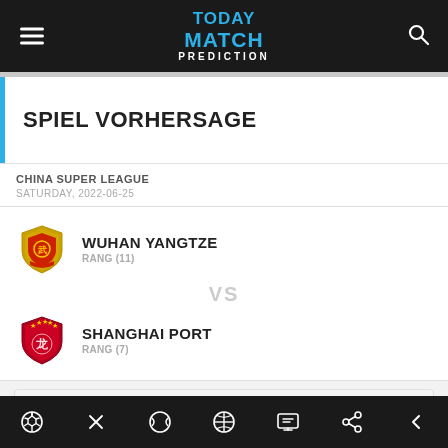TODAY MATCH PREDICTION
SPIEL VORHERSAGE
CHINA SUPER LEAGUE
SATURDAY, 2022-06-25
WUHAN YANGTZE
RANG (11)
VS
SHANGHAI PORT
RANG (7)
VORHERSAGE